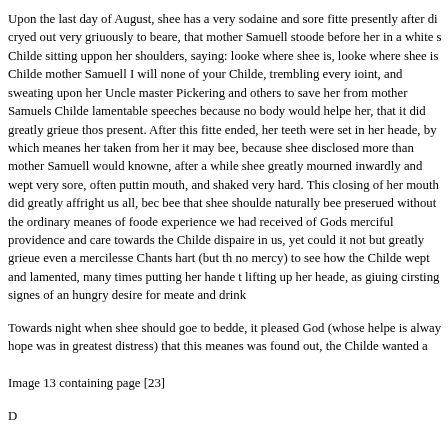Upon the last day of August, shee has a very sodaine and sore fitte presently after di cryed out very griuously to beare, that mother Samuell stoode before her in a white s Childe sitting uppon her shoulders, saying: looke where shee is, looke where shee is Childe mother Samuell I will none of your Childe, trembling every ioint, and sweating upon her Uncle master Pickering and others to save her from mother Samuels Childe lamentable speeches because no body would helpe her, that it did greatly grieue thos present. After this fitte ended, her teeth were set in her heade, by which meanes her taken from her it may bee, because shee disclosed more than mother Samuell would knowne, after a while shee greatly mourned inwardly and wept very sore, often puttin mouth, and shaked very hard. This closing of her mouth did greatly affright us all, bec bee that shee shoulde naturally bee preserued without the ordinary meanes of foode experience we had received of Gods merciful providence and care towards the Childe dispaire in us, yet could it not but greatly grieue even a mercilesse Chants hart (but th no mercy) to see how the Childe wept and lamented, many times putting her hande t lifting up her heade, as giuing cirsting signes of an hungry desire for meate and drink
Towards night when shee should goe to bedde, it pleased God (whose helpe is alway hope was in greatest distress) that this meanes was found out, the Childe wanted a
Image 13 containing page [23]
D